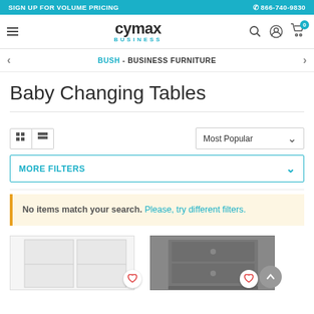SIGN UP FOR VOLUME PRICING | ☎ 866-740-9830
[Figure (logo): Cymax Business logo with hamburger menu and navigation icons including search, account, and cart (0 items)]
BUSH - BUSINESS FURNITURE
Baby Changing Tables
View controls: grid and list view buttons. Sort dropdown: Most Popular
MORE FILTERS
No items match your search. Please, try different filters.
[Figure (photo): Two product thumbnail images: a white furniture piece and a dark gray dresser/changing table]